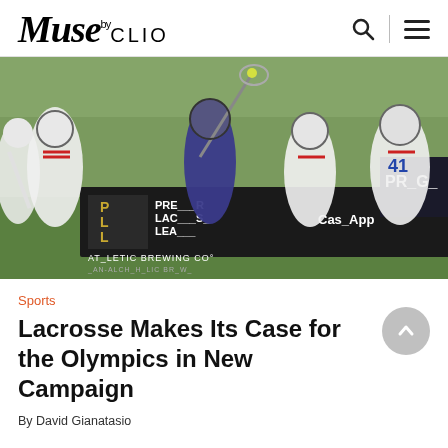Muse by CLIO
[Figure (photo): Lacrosse players in action during a Premier Lacrosse League game, with Athletic Brewing Co. and Cash App sponsorship banners visible in the background. Players wearing white uniforms with number 41 visible on right side, and one player in blue/purple uniform in the center.]
Sports
Lacrosse Makes Its Case for the Olympics in New Campaign
By David Gianatasio